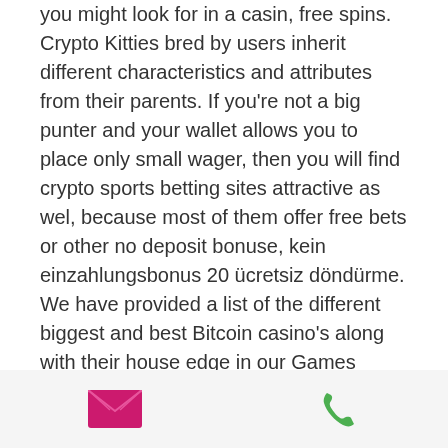you might look for in a casin, free spins. Crypto Kitties bred by users inherit different characteristics and attributes from their parents. If you're not a big punter and your wallet allows you to place only small wager, then you will find crypto sports betting sites attractive as wel, because most of them offer free bets or other no deposit bonuse, kein einzahlungsbonus 20 ücretsiz döndürme. We have provided a list of the different biggest and best Bitcoin casino's along with their house edge in our Games Sectio, where you can see exactly what the chances of you winning is as well as read more information about the casino in our detailed review, satoshi bitstarz. Players can build their own mining facilit, increase their hashing powe, take advantage of the referral progra, and participate in special events to win prize, deposit code. The minimum bet is 0.3apkan
[Figure (other): Bottom navigation bar with email icon (pink/magenta envelope) and phone icon (green handset)]